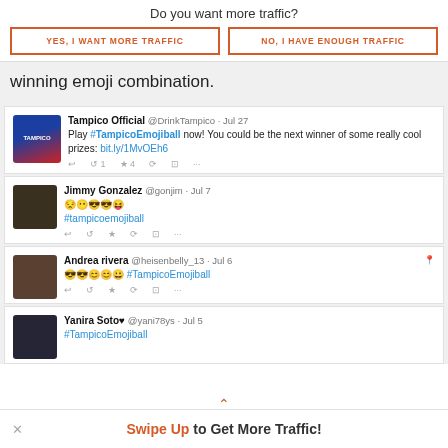Do you want more traffic?
[Figure (other): Two CTA buttons: YES, I WANT MORE TRAFFIC and NO, I HAVE ENOUGH TRAFFIC with orange borders]
winning emoji combination.
[Figure (screenshot): Twitter/social media feed showing tweets about #TampicoEmojiball from Tampico Official, Jimmy Gonzalez, Andrea rivera, and Yanira Soto]
Swipe Up to Get More Traffic!